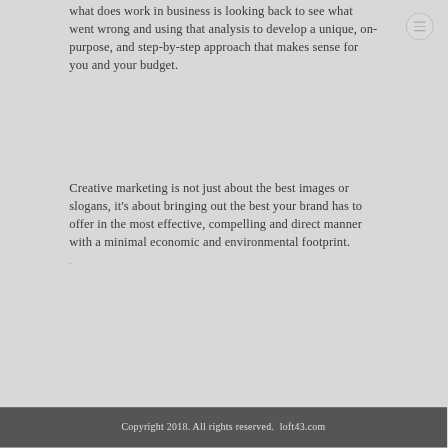what does work in business is looking back to see what went wrong and using that analysis to develop a unique, on-purpose, and step-by-step approach that makes sense for you and your budget.
Creative marketing is not just about the best images or slogans, it's about bringing out the best your brand has to offer in the most effective, compelling and direct manner with a minimal economic and environmental footprint.
Copyright 2018. All rights reserved.  loft43.com